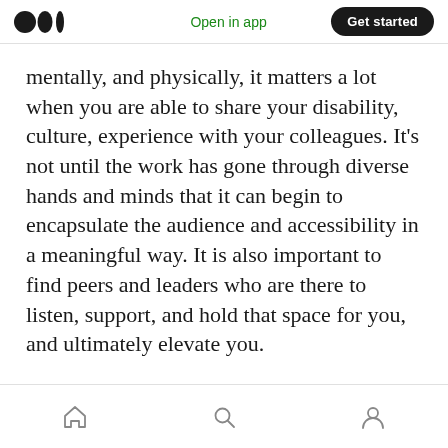Open in app | Get started
mentally, and physically, it matters a lot when you are able to share your disability, culture, experience with your colleagues. It's not until the work has gone through diverse hands and minds that it can begin to encapsulate the audience and accessibility in a meaningful way. It is also important to find peers and leaders who are there to listen, support, and hold that space for you, and ultimately elevate you.
· · ·
[home icon] [search icon] [profile icon]